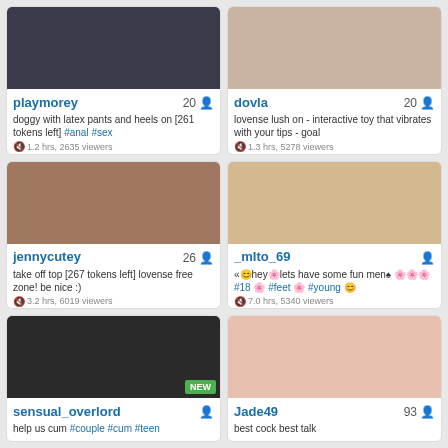[Figure (screenshot): Webcam thumbnail for playmorey]
playmorey 20 — doggy with latex pants and heels on [261 tokens left] #anal #sex — 1.2 hrs, 2635 viewers
[Figure (screenshot): Webcam thumbnail for dovla]
dovla 20 — lovense lush on - interactive toy that vibrates with your tips - goal — 1.3 hrs, 5278 viewers
[Figure (screenshot): Webcam thumbnail for jennycutey]
jennycutey 26 — take off top [267 tokens left] lovense free zone! be nice :) — 3.2 hrs, 6019 viewers
[Figure (screenshot): Webcam thumbnail for _mIto_69]
_mIto_69 — «hey lets have some fun men #18 #feet #young — 7.0 hrs, 5340 viewers
[Figure (screenshot): Webcam thumbnail for sensual_overlord with NEW badge]
sensual_overlord — help us cum #couple #cum #teen
[Figure (screenshot): Webcam thumbnail for Jade49]
Jade49 93 — best cock best talk